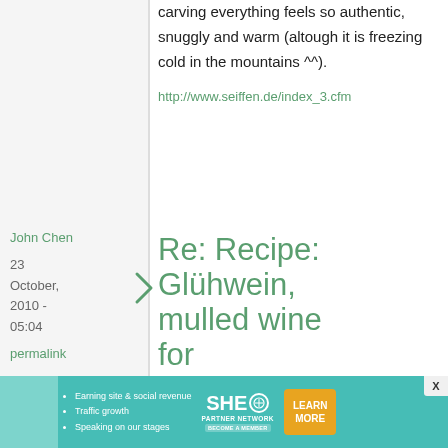carving everything feels so authentic, snuggly and warm (altough it is freezing cold in the mountains ^^).
http://www.seiffen.de/index_3.cfm
John Chen
23 October, 2010 - 05:04
permalink
Re: Recipe: Glühwein, mulled wine for Christmas